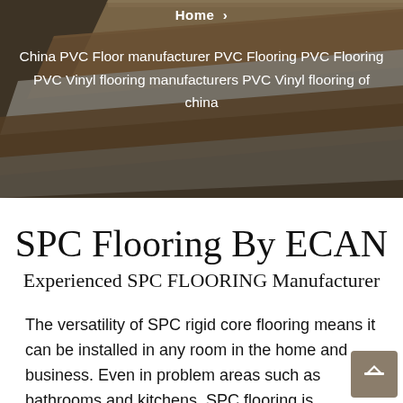[Figure (photo): Hero banner image showing stacked PVC/SPC flooring planks in various wood grain finishes (brown, grey, white tones) displayed at an angle against a dark overlay background.]
Home ›
China PVC Floor manufacturer PVC Flooring PVC Flooring PVC Vinyl flooring manufacturers PVC Vinyl flooring of china
SPC Flooring By ECAN
Experienced SPC FLOORING Manufacturer
The versatility of SPC rigid core flooring means it can be installed in any room in the home and business. Even in problem areas such as bathrooms and kitchens, SPC flooring is waterproof and therefore perfect for these installations. With the ultra stable core, it is also ideal for open plan living spaces, as it can be laid in large areas without the need for breaks. SPC flooring can also be used